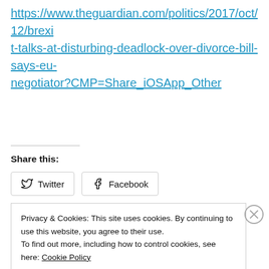https://www.theguardian.com/politics/2017/oct/12/brexit-talks-at-disturbing-deadlock-over-divorce-bill-says-eu-negotiator?CMP=Share_iOSApp_Other
Share this:
[Figure (other): Twitter and Facebook share buttons]
Privacy & Cookies: This site uses cookies. By continuing to use this website, you agree to their use.
To find out more, including how to control cookies, see here: Cookie Policy
Close and accept